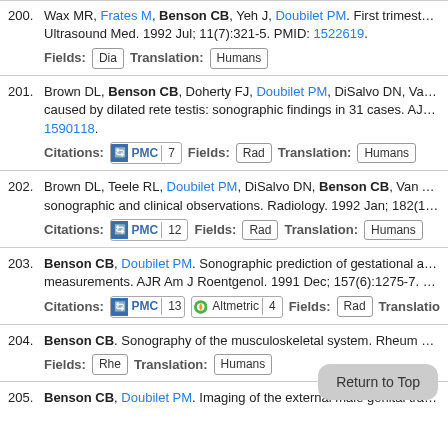200. Wax MR, Frates M, Benson CB, Yeh J, Doubilet PM. First trimester fi... Ultrasound Med. 1992 Jul; 11(7):321-5. PMID: 1522619. Fields: Dia Translation: Humans
201. Brown DL, Benson CB, Doherty FJ, Doubilet PM, DiSalvo DN, Van Als... caused by dilated rete testis: sonographic findings in 31 cases. AJR Am... 1590118. Citations: PMC 7 Fields: Rad Translation: Humans
202. Brown DL, Teele RL, Doubilet PM, DiSalvo DN, Benson CB, Van Alsty... sonographic and clinical observations. Radiology. 1992 Jan; 182(1):73-... Citations: PMC 12 Fields: Rad Translation: Humans
203. Benson CB, Doubilet PM. Sonographic prediction of gestational age: a... measurements. AJR Am J Roentgenol. 1991 Dec; 157(6):1275-7. PMID... Citations: PMC 13 Altmetric 4 Fields: Rad Translation:
204. Benson CB. Sonography of the musculoskeletal system. Rheum Dis C... Fields: Rhe Translation: Humans
205. Benson CB, Doubilet PM. Imaging of the external male genital tract. S...